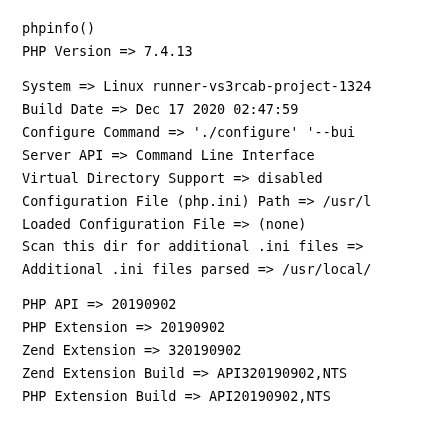phpinfo()
PHP Version => 7.4.13
System => Linux runner-vs3rcab-project-1324
Build Date => Dec 17 2020 02:47:59
Configure Command =>  './configure'  '--bui
Server API => Command Line Interface
Virtual Directory Support => disabled
Configuration File (php.ini) Path => /usr/l
Loaded Configuration File => (none)
Scan this dir for additional .ini files =>
Additional .ini files parsed => /usr/local/
PHP API => 20190902
PHP Extension => 20190902
Zend Extension => 320190902
Zend Extension Build => API320190902,NTS
PHP Extension Build => API20190902,NTS